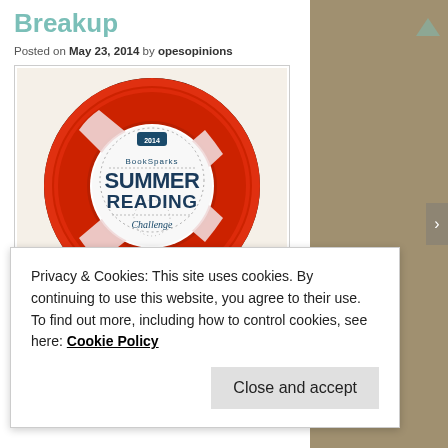Breakup
Posted on May 23, 2014 by opesopinions
[Figure (illustration): A red and white life preserver ring (life buoy) with a BookSparks Summer Reading Challenge logo/badge in the center. The badge is white with dark blue text reading 'BookSparks SUMMER READING Challenge' and dotted decorative borders.]
Privacy & Cookies: This site uses cookies. By continuing to use this website, you agree to their use.
To find out more, including how to control cookies, see here: Cookie Policy
Close and accept